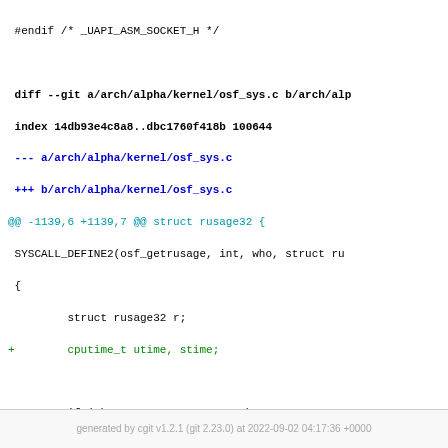#endif /* _UAPI_ASM_SOCKET_H */

diff --git a/arch/alpha/kernel/osf_sys.c b/arch/alp
index 14db93e4c8a8..dbc1760f418b 100644
--- a/arch/alpha/kernel/osf_sys.c
+++ b/arch/alpha/kernel/osf_sys.c
@@ -1139,6 +1139,7 @@ struct rusage32 {
 SYSCALL_DEFINE2(osf_getrusage, int, who, struct ru
 {
         struct rusage32 r;
+        cputime_t utime, stime;

         if (who != RUSAGE_SELF && who != RUSAGE_CHI
                         return -EINVAL;
@@ -1146,8 +1147,9 @@ SYSCALL_DEFINE2(osf_getrusage
         memset(&r, 0, sizeof(r));
         switch (who) {
         case RUSAGE_SELF:
-                 jiffies_to_timeval32(current->utime
-                 jiffies_to_timeval32(current->stime
+                 task_cputime(current, &utime, &stim
+                 jiffies_to_timeval32(utime, &r.ru_u
+                 jiffies_to_timeval32(stime, &r.ru_s
                  r.ru_minflt = current->min_flt;
                  r.ru_majflt = current->maj_flt;
                  break;
generated by cgit v1.2.1 (git 2.23.0) at 2022-09-02 04:17:36 +0000